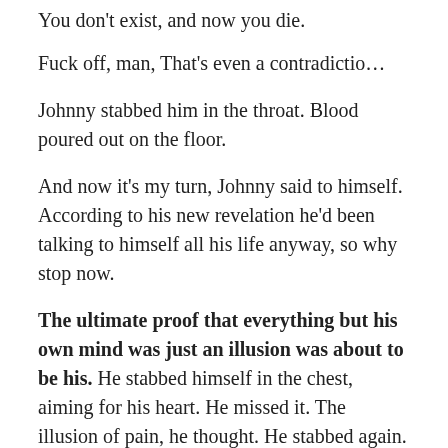You don't exist, and now you die.
Fuck off, man, That's even a contradictio...
Johnny stabbed him in the throat. Blood poured out on the floor.
And now it's my turn, Johnny said to himself. According to his new revelation he'd been talking to himself all his life anyway, so why stop now.
The ultimate proof that everything but his own mind was just an illusion was about to be his. He stabbed himself in the chest, aiming for his heart. He missed it. The illusion of pain, he thought. He stabbed again.
Everything went black. He never found out, but